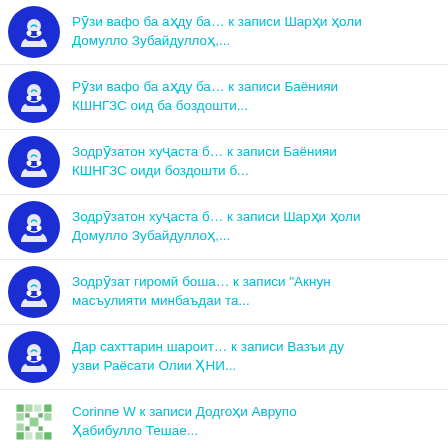Рӯзи вафо ба аҳду ба… к записи Шарҳи ҳоли Домулло Зубайдуллоҳ,...
Рӯзи вафо ба аҳду ба… к записи Баёнияи КШНГЗС оид ба боздошти...
Зодрӯзатон хуҷаста б… к записи Баёнияи КШНГЗС оиди боздошти б...
Зодрӯзатон хуҷаста б… к записи Шарҳи ҳоли Домулло Зубайдуллоҳ,...
Зодрӯзат гиромй боша… к записи "Акнун масъулияти минбаъдаи та...
Дар сахттарин шароит… к записи Вазъи ду узви Раёсати Олии ҲНИ...
Corinne W к записи Додгоҳи Аврупо Ҳабибулло Тешае...
Касе, ки гули дӯстдо… к записи "Бародари ман, Абдулҳалим афса...
"Ман орзу дорам, ки… к записи Шиканҷаи зиндониёнро бас кунед...